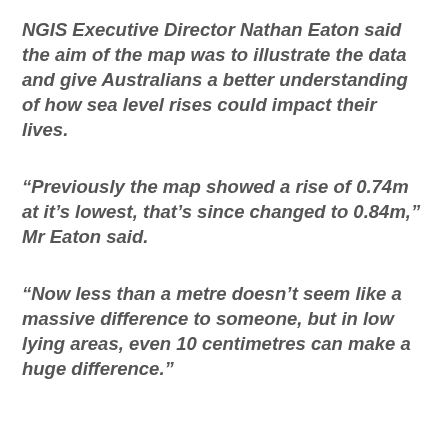NGIS Executive Director Nathan Eaton said the aim of the map was to illustrate the data and give Australians a better understanding of how sea level rises could impact their lives.
“Previously the map showed a rise of 0.74m at it’s lowest, that’s since changed to 0.84m,” Mr Eaton said.
“Now less than a metre doesn’t seem like a massive difference to someone, but in low lying areas, even 10 centimetres can make a huge difference.”